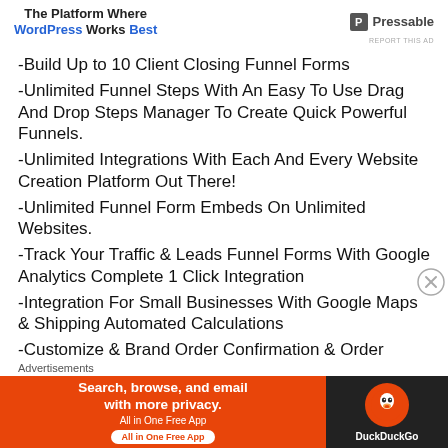[Figure (infographic): Pressable WordPress hosting advertisement banner with logo and tagline 'The Platform Where WordPress Works Best']
REPORT THIS AD
-Build Up to 10 Client Closing Funnel Forms
-Unlimited Funnel Steps With An Easy To Use Drag And Drop Steps Manager To Create Quick Powerful Funnels.
-Unlimited Integrations With Each And Every Website Creation Platform Out There!
-Unlimited Funnel Form Embeds On Unlimited Websites.
-Track Your Traffic & Leads Funnel Forms With Google Analytics Complete 1 Click Integration
-Integration For Small Businesses With Google Maps & Shipping Automated Calculations
-Customize & Brand Order Confirmation & Order
Advertisements
[Figure (infographic): DuckDuckGo advertisement: 'Search, browse, and email with more privacy. All in One Free App' on orange background with DuckDuckGo logo on dark background]